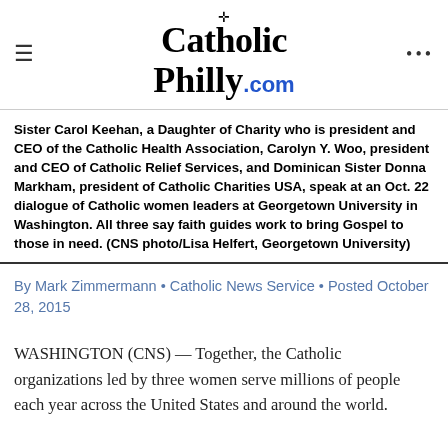CatholicPhilly.com
Sister Carol Keehan, a Daughter of Charity who is president and CEO of the Catholic Health Association, Carolyn Y. Woo, president and CEO of Catholic Relief Services, and Dominican Sister Donna Markham, president of Catholic Charities USA, speak at an Oct. 22 dialogue of Catholic women leaders at Georgetown University in Washington. All three say faith guides work to bring Gospel to those in need. (CNS photo/Lisa Helfert, Georgetown University)
By Mark Zimmermann • Catholic News Service • Posted October 28, 2015
WASHINGTON (CNS) — Together, the Catholic organizations led by three women serve millions of people each year across the United States and around the world.